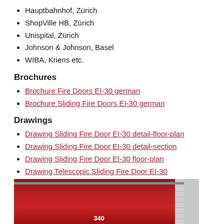Hauptbahnhof, Zürich
ShopVille HB, Zürich
Unispital, Zürich
Johnson & Johnson, Basel
WIBA, Kriens etc.
Brochures
Brochure Fire Doors EI-30 german
Brochure Sliding Fire Doors EI-30 german
Drawings
Drawing Sliding Fire Door EI-30 detail-floor-plan
Drawing Sliding Fire Door EI-30 detail-section
Drawing Sliding Fire Door EI-30 floor-plan
Drawing Telescopic Sliding Fire Door EI-30
[Figure (photo): Photograph of a red sliding fire door EI-30 installed between concrete/brick walls, with overhead track, door labeled 340]